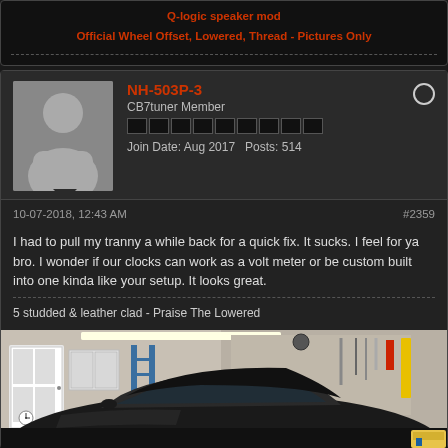Q-logic speaker mod
Official Wheel Offset, Lowered, Thread - Pictures Only
NH-503P-3
CB7tuner Member
Join Date: Aug 2017  Posts: 514
10-07-2018, 12:43 AM
#2359
I had to pull my tranny a while back for a quick fix. It sucks. I feel for ya bro. I wonder if our clocks can work as a volt meter or be custom built into one kinda like your setup. It looks great.
5 studded & leather clad - Praise The Lowered
[Figure (photo): A dark-colored Honda Accord coupe parked in a garage with tools on the wall and white cabinets/doors visible]